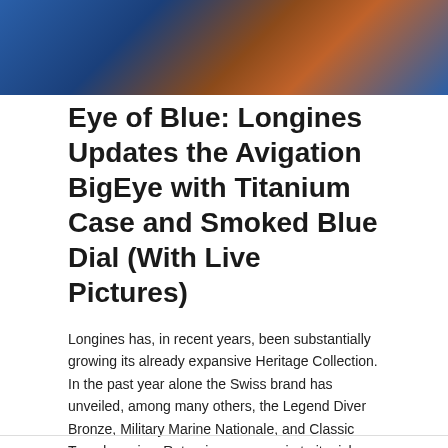[Figure (photo): Partial view of Longines watch with blue and orange geometric shapes, cropped at top of page]
Eye of Blue: Longines Updates the Avigation BigEye with Titanium Case and Smoked Blue Dial (With Live Pictures)
Longines has, in recent years, been substantially growing its already expansive Heritage Collection. In the past year alone the Swiss brand has unveiled, among many others, the Legend Diver Bronze, Military Marine Nationale, and Classic Tuxedo series. Returning once again to its rich archives, Longines this year adds another version of its historically inspired pilot's...
Read the article
Feb 20, 2021 by Caleb Anderson